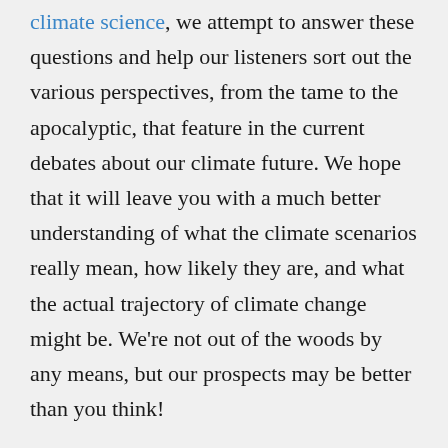climate science, we attempt to answer these questions and help our listeners sort out the various perspectives, from the tame to the apocalyptic, that feature in the current debates about our climate future. We hope that it will leave you with a much better understanding of what the climate scenarios really mean, how likely they are, and what the actual trajectory of climate change might be. We're not out of the woods by any means, but our prospects may be better than you think!
View all parts of The Energy Transition Show mini-series on climate at: